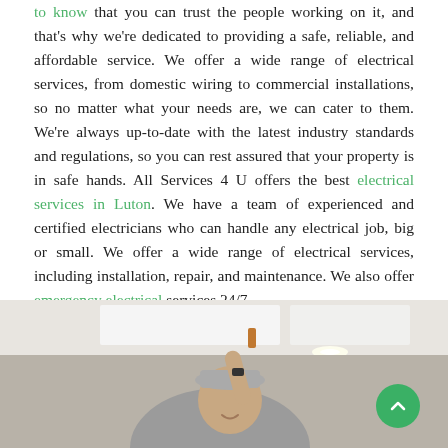to know that you can trust the people working on it, and that's why we're dedicated to providing a safe, reliable, and affordable service. We offer a wide range of electrical services, from domestic wiring to commercial installations, so no matter what your needs are, we can cater to them. We're always up-to-date with the latest industry standards and regulations, so you can rest assured that your property is in safe hands. All Services 4 U offers the best electrical services in Luton. We have a team of experienced and certified electricians who can handle any electrical job, big or small. We offer a wide range of electrical services, including installation, repair, and maintenance. We also offer emergency electrical services 24/7.
[Figure (photo): An electrician (man in grey shirt and cap) reaching up to install or fix a ceiling light fixture, smiling, in a room with white ceiling panels]